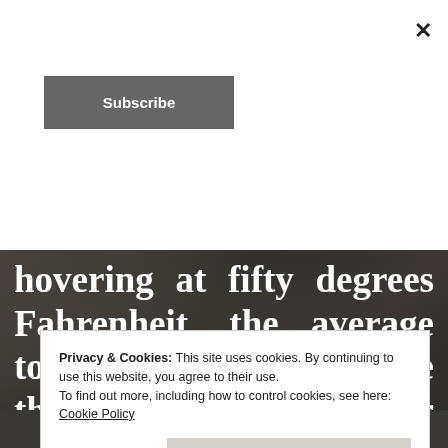×
Subscribe
hovering at fifty degrees Fahrenheit, the average tourist required no more than a light jacket or shawl.  Aussies wore winter coats, and braw souls from Northern climes sported bare
Privacy & Cookies: This site uses cookies. By continuing to use this website, you agree to their use.
To find out more, including how to control cookies, see here:
Cookie Policy
Close and accept